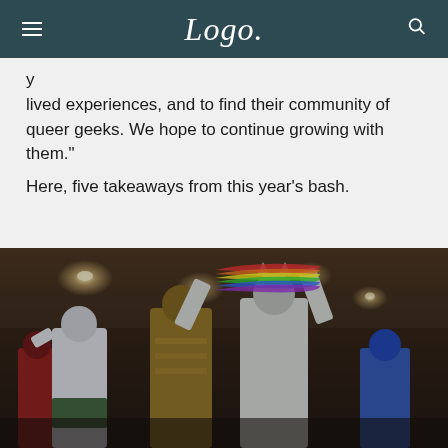Logo
lived experiences, and to find their community of queer geeks. We hope to continue growing with them."
Here, five takeaways from this year's bash.
[Figure (photo): Two costumed performers on a convention floor stage; one in silver/metallic costume holding a rainbow flag or scarf overhead, another in an ornate golden costume beside them. Other costumed attendees visible in background.]